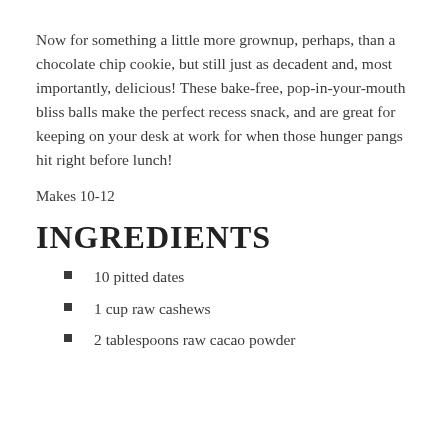Now for something a little more grownup, perhaps, than a chocolate chip cookie, but still just as decadent and, most importantly, delicious! These bake-free, pop-in-your-mouth bliss balls make the perfect recess snack, and are great for keeping on your desk at work for when those hunger pangs hit right before lunch!
Makes 10-12
INGREDIENTS
10 pitted dates
1 cup raw cashews
2 tablespoons raw cacao powder